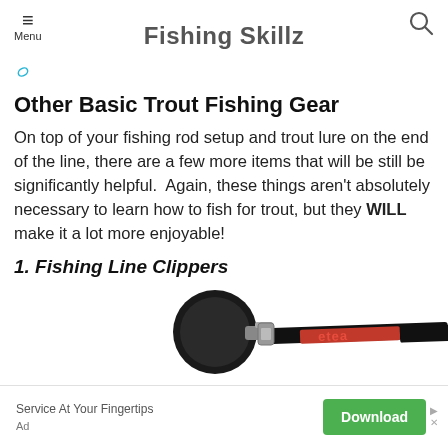Fishing Skillz
Other Basic Trout Fishing Gear
On top of your fishing rod setup and trout lure on the end of the line, there are a few more items that will be still be significantly helpful.  Again, these things aren't absolutely necessary to learn how to fish for trout, but they WILL make it a lot more enjoyable!
1. Fishing Line Clippers
[Figure (photo): Close-up photo of fishing line clippers with black round head and a red and black strap/lanyard labeled 'etea']
Service At Your Fingertips
Ad